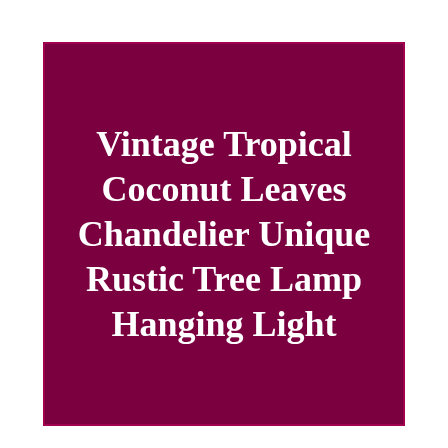Vintage Tropical Coconut Leaves Chandelier Unique Rustic Tree Lamp Hanging Light